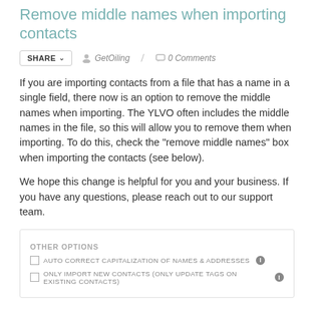Remove middle names when importing contacts
GetOiling / 0 Comments
If you are importing contacts from a file that has a name in a single field, there now is an option to remove the middle names when importing. The YLVO often includes the middle names in the file, so this will allow you to remove them when importing. To do this, check the "remove middle names" box when importing the contacts (see below).
We hope this change is helpful for you and your business. If you have any questions, please reach out to our support team.
OTHER OPTIONS
AUTO CORRECT CAPITALIZATION OF NAMES & ADDRESSES
ONLY IMPORT NEW CONTACTS (ONLY UPDATE TAGS ON EXISTING CONTACTS)